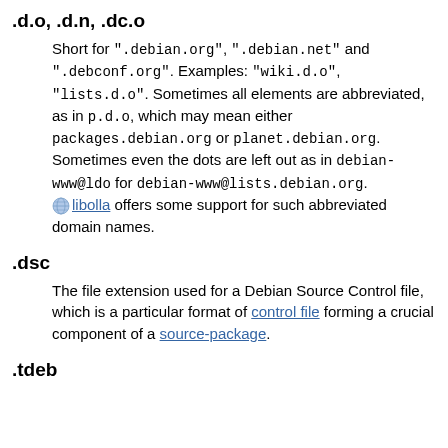.d.o, .d.n, .dc.o
Short for ".debian.org", ".debian.net" and ".debconf.org". Examples: "wiki.d.o", "lists.d.o". Sometimes all elements are abbreviated, as in p.d.o, which may mean either packages.debian.org or planet.debian.org. Sometimes even the dots are left out as in debian-www@ldo for debian-www@lists.debian.org. libolla offers some support for such abbreviated domain names.
.dsc
The file extension used for a Debian Source Control file, which is a particular format of control file forming a crucial component of a source-package.
.tdeb